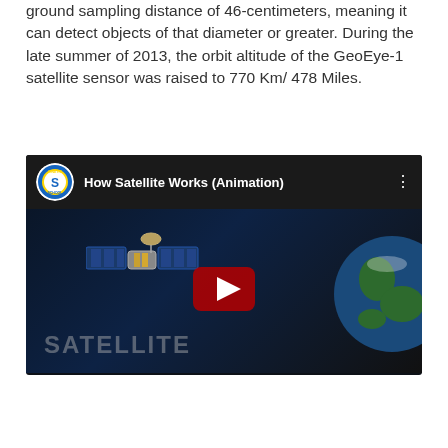ground sampling distance of 46-centimeters, meaning it can detect objects of that diameter or greater. During the late summer of 2013, the orbit altitude of the GeoEye-1 satellite sensor was raised to 770 Km/ 478 Miles.
[Figure (screenshot): YouTube video thumbnail for 'How Satellite Works (Animation)' by Kinetic School channel, showing a satellite and Earth with a red play button in the center and 'SATELLITE' text at the bottom.]
[Figure (other): Social media sharing icons row: Facebook, Reddit, WhatsApp, Messenger, Telegram, and a plus/more button. Also a scroll-to-top arrow button on the right.]